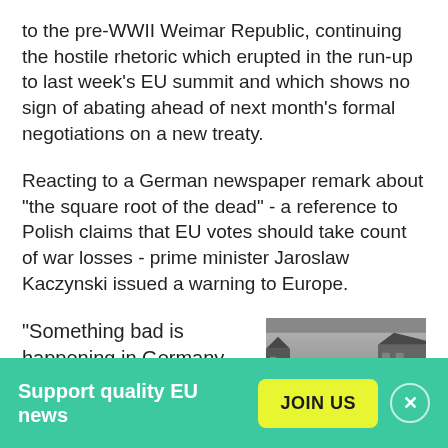to the pre-WWII Weimar Republic, continuing the hostile rhetoric which erupted in the run-up to last week's EU summit and which shows no sign of abating ahead of next month's formal negotiations on a new treaty.
Reacting to a German newspaper remark about "the square root of the dead" - a reference to Polish claims that EU votes should take count of war losses - prime minister Jaroslaw Kaczynski issued a warning to Europe.
"Something bad is happening in Germany. As in historic days gone by when most Europeans
[Figure (photo): Black and white photograph of a war-destroyed city street with rubble and bombed buildings]
Support quality EU news
JOIN US